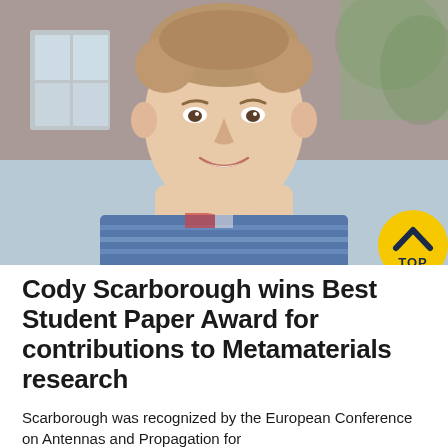[Figure (photo): Headshot of Cody Scarborough, a young man smiling, wearing a blue striped shirt, photographed outdoors in front of a brick building. A yellow circular 'TOP' navigation button is overlaid in the bottom-right corner of the image.]
Cody Scarborough wins Best Student Paper Award for contributions to Metamaterials research
Scarborough was recognized by the European Conference on Antennas and Propagation for